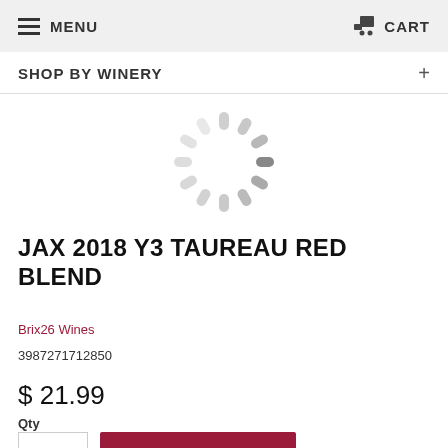MENU   CART
SHOP BY WINERY
[Figure (illustration): Loading spinner icon — circular dashed ring of gray rounded bars radiating from center]
JAX 2018 Y3 TAUREAU RED BLEND
Brix26 Wines
3987271712850
$ 21.99
Qty
1
ADD TO CART